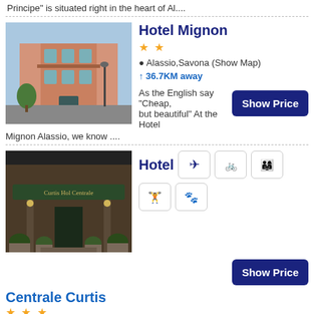Principe" is situated right in the heart of Al....
[Figure (photo): Hotel Mignon exterior photo showing corner building with balconies]
Hotel Mignon
★★
📍 Alassio,Savona (Show Map)
↑ 36.7KM away
As the English say "Cheap, but beautiful" At the Hotel Mignon Alassio, we know ....
[Figure (photo): Hotel Centrale Curtis entrance photo with green awning]
Hotel
Centrale Curtis
★★★
📍 Alassio,Savona (Show Map)
↑ 36.7KM away
L'Hotel Curtis Centrale di Alassio è situato in una posizione tranquilla, a 5....
[Figure (photo): Partial bottom hotel photo in blue tones]
Casa Losma